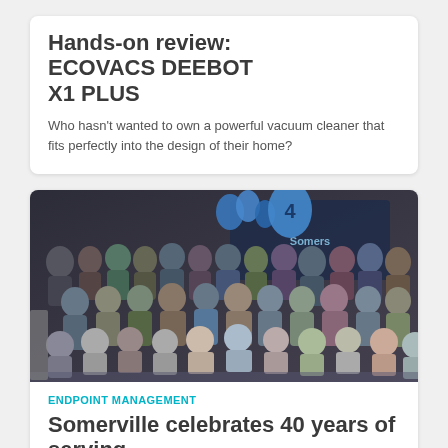Hands-on review: ECOVACS DEEBOT X1 PLUS
Who hasn't wanted to own a powerful vacuum cleaner that fits perfectly into the design of their home?
[Figure (photo): Group photo of approximately 40–50 employees/people celebrating, posing together indoors with blue balloons and a '4' balloon in the background, in front of a dark blue branded backdrop.]
ENDPOINT MANAGEMENT
Somerville celebrates 40 years of serving...